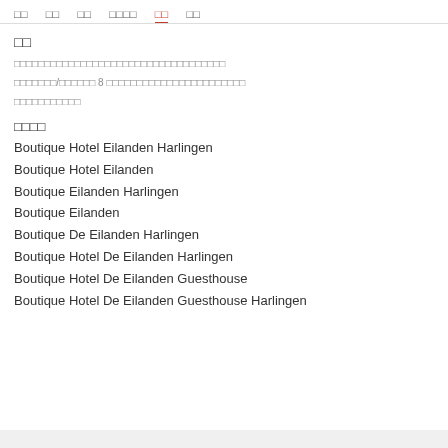□□  □□  □□  □□□□  □□  □□
□□
□□□□□□□□□□□□□□□□□□□□□□□□□□□□□□□□□□□
□□□□□□□/□□□□□□ 8 □□□□□□□□□□□□□□□□□□□□□□□
□□□□□□□□□□□
□□□□
Boutique Hotel Eilanden Harlingen
Boutique Hotel Eilanden
Boutique Eilanden Harlingen
Boutique Eilanden
Boutique De Eilanden Harlingen
Boutique Hotel De Eilanden Harlingen
Boutique Hotel De Eilanden Guesthouse
Boutique Hotel De Eilanden Guesthouse Harlingen